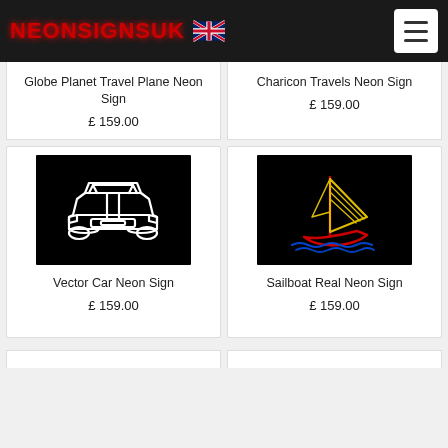NEONSIGNSUK
Globe Planet Travel Plane Neon Sign
£ 159.00
Charicon Travels Neon Sign
£ 159.00
[Figure (photo): Neon sign of a car outline (white neon) on black background]
Vector Car Neon Sign
£ 159.00
[Figure (photo): Neon sign of a sailboat (red hull, yellow sails, blue waves) on black background]
Sailboat Real Neon Sign
£ 159.00